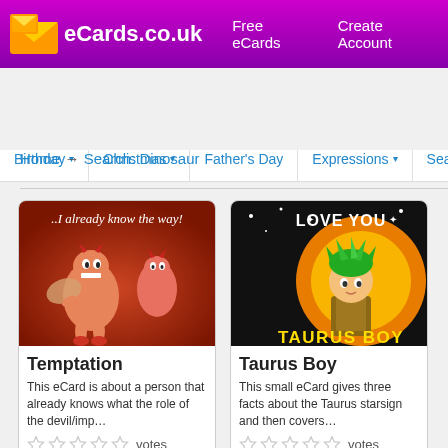eCards.co.uk | Free eCards | Create Account
Birthday | Christmas | Father's Day | Expressions | Season
Home → Search: Dinosaur
[Figure (screenshot): eCard image showing two cartoon devil/imp characters with text '..I already know the way!']
Temptation
This eCard is about a person that already knows what the role of the devil/imp…
votes
[Figure (screenshot): eCard image showing anime-style character with text 'LOVE YOU TAURUS BOY' on orange background]
Taurus Boy
This small eCard gives three facts about the Taurus starsign and then covers…
votes